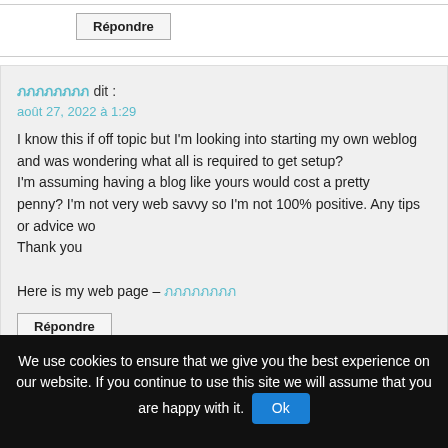Répondre
ภภภภภภภภ dit :
août 27, 2022 à 1:29
I know this if off topic but I'm looking into starting my own weblog and was wondering what all is required to get setup?
I'm assuming having a blog like yours would cost a pretty penny? I'm not very web savvy so I'm not 100% positive. Any tips or advice wo
Thank you

Here is my web page – ภภภภภภภภ
Répondre
LisaRuila dit :
août 27, 2022 à 1:40
We use cookies to ensure that we give you the best experience on our website. If you continue to use this site we will assume that you are happy with it.  Ok